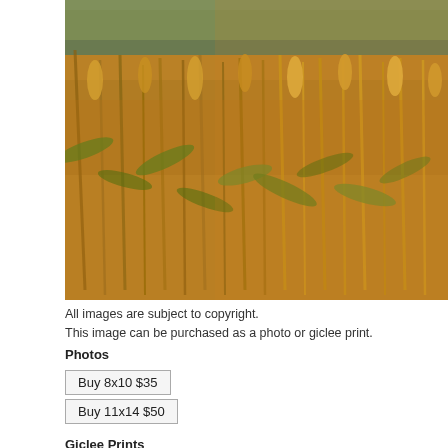[Figure (photo): Photograph of a cornfield with golden-brown and green corn stalks under warm sunlight, with trees visible in the background.]
All images are subject to copyright.
This image can be purchased as a photo or giclee print.
Photos
Buy 8x10 $35
Buy 11x14 $50
Giclee Prints
Buy 11x14 Giclee $150
Buy 16x20 Giclee $235